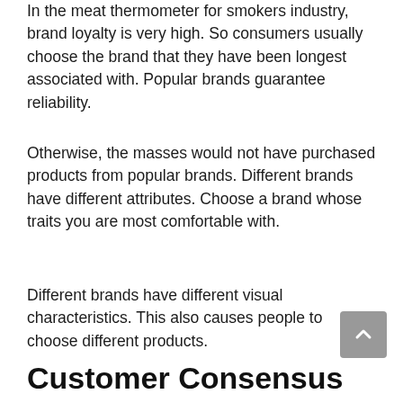In the meat thermometer for smokers industry, brand loyalty is very high. So consumers usually choose the brand that they have been longest associated with. Popular brands guarantee reliability.
Otherwise, the masses would not have purchased products from popular brands. Different brands have different attributes. Choose a brand whose traits you are most comfortable with.
Different brands have different visual characteristics. This also causes people to choose different products.
Customer Consensus